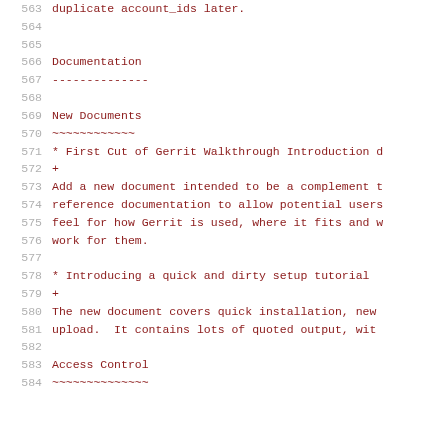563  duplicate account_ids later.
564
565
566  Documentation
567  --------------
568
569  New Documents
570  ~~~~~~~~~~~~
571  * First Cut of Gerrit Walkthrough Introduction d
572  +
573  Add a new document intended to be a complement t
574  reference documentation to allow potential users
575  feel for how Gerrit is used, where it fits and w
576  work for them.
577
578  * Introducing a quick and dirty setup tutorial
579  +
580  The new document covers quick installation, new
581  upload.  It contains lots of quoted output, wit
582
583  Access Control
584  ~~~~~~~~~~~~~~